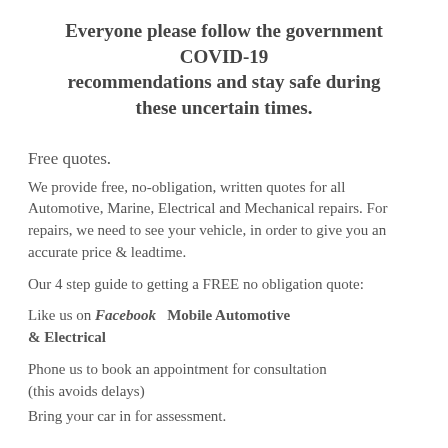Everyone please follow the government COVID-19 recommendations and stay safe during these uncertain times.
Free quotes.
We provide free, no-obligation, written quotes for all Automotive, Marine, Electrical and Mechanical repairs. For repairs, we need to see your vehicle, in order to give you an accurate price & leadtime.
Our 4 step guide to getting a FREE no obligation quote:
Like us on Facebook   Mobile Automotive & Electrical
Phone us to book an appointment for consultation (this avoids delays)
Bring your car in for assessment.